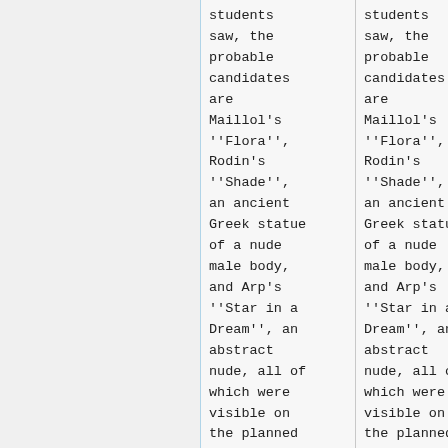students saw, the probable candidates are Maillol's ''Flora'', Rodin's ''Shade'', an ancient Greek statue of a nude male body, and Arp's ''Star in a Dream'', an abstract nude, all of which were visible on the planned
students saw, the probable candidates are Maillol's ''Flora'', Rodin's ''Shade'', an ancient Greek statue of a nude male body, and Arp's ''Star in a Dream'', an abstract nude, all of which were visible on the planned